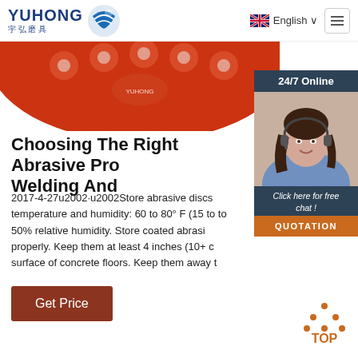YUHONG 宇弘磨具 | English
[Figure (photo): Partial view of a red circular abrasive disc from above]
[Figure (photo): 24/7 Online chat widget with female customer service representative wearing headset, with 'Click here for free chat!' and QUOTATION button]
Choosing The Right Abrasive Pro Welding And
2017-4-27u2002·u2002Store abrasive discs temperature and humidity: 60 to 80° F (15 to to 50% relative humidity. Store coated abrasi properly. Keep them at least 4 inches (10+ c surface of concrete floors. Keep them away t
[Figure (other): Get Price brown button]
[Figure (other): TOP navigation button with orange dots triangle icon]